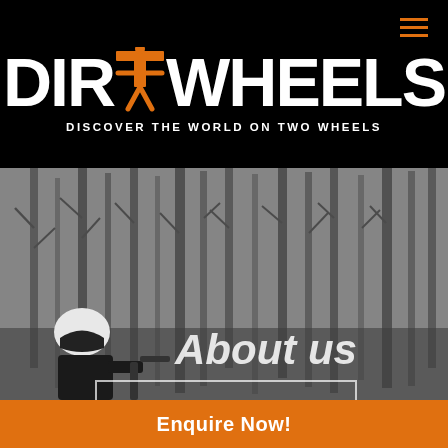[Figure (logo): Dirt Wheels logo with orange figure icon and white bold text on black background, tagline: DISCOVER THE WORLD ON TWO WHEELS]
[Figure (photo): Black and white photo of a motorcyclist with white helmet riding through a bare forest with tall trees. Overlaid text reads 'About us' in white italic bold. A partial rectangle outline appears near the bottom.]
Enquire Now!